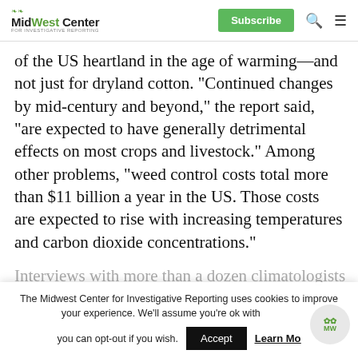MidWest Center for Investigative Reporting — Subscribe
of the US heartland in the age of warming—and not just for dryland cotton. "Continued changes by mid-century and beyond," the report said, "are expected to have generally detrimental effects on most crops and livestock." Among other problems, "weed control costs total more than $11 billion a year in the US. Those costs are expected to rise with increasing temperatures and carbon dioxide concentrations."
Interviews with more than a dozen climatologists
The Midwest Center for Investigative Reporting uses cookies to improve your experience. We'll assume you're ok with this, but you can opt-out if you wish.  Accept  Learn More